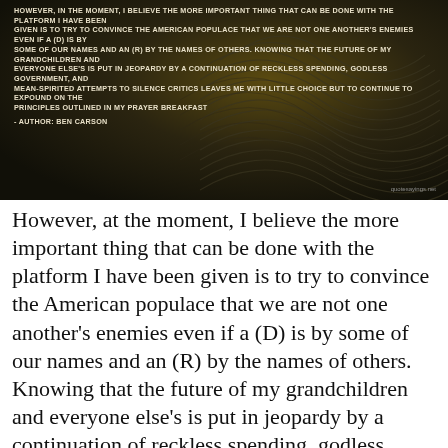[Figure (photo): Dark decorative background image with swirl/wave pattern and an overlaid quote in white uppercase text: 'However, in the moment, I believe the more important thing that can be done with the platform I have been given is to try to convince the American populace that we are not one another's enemies even if a (D) is by some of our names and an (R) by the names of others. Knowing that the future of my grandchildren and everyone else's is put in jeopardy by a continuation of reckless spending, godless government, and mean-spirited attempts to silence critics leaves me with little choice but to continue to expound on the principles outlined in my Prayer Breakfast' followed by '- Author: Ben Carson'. Watermark 'quotesayings.net' in bottom right.]
However, at the moment, I believe the more important thing that can be done with the platform I have been given is to try to convince the American populace that we are not one another's enemies even if a (D) is by some of our names and an (R) by the names of others. Knowing that the future of my grandchildren and everyone else's is put in jeopardy by a continuation of reckless spending, godless government, and mean-spirited attempts to silence critics leaves me with little choice but to continue to